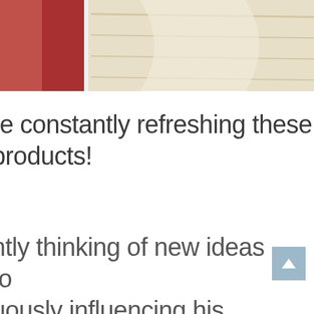[Figure (photo): Partial view of decorative items including what appears to be fabric/textile products with red and cream colors, cropped at top of page]
re constantly refreshing these products!
ntly thinking of new ideas to uously influencing his with his carpenter friend in upstate